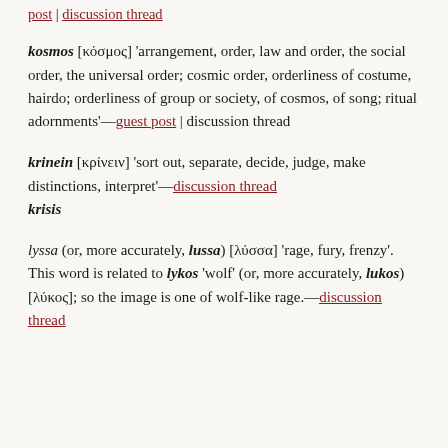post | discussion thread
kosmos [κόσμος] 'arrangement, order, law and order, the social order, the universal order; cosmic order, orderliness of costume, hairdo; orderliness of group or society, of cosmos, of song; ritual adornments'—guest post | discussion thread
krinein [κρίνειν] 'sort out, separate, decide, judge, make distinctions, interpret'—discussion thread krisis
lyssa (or, more accurately, lussa) [λύσσα] 'rage, fury, frenzy'. This word is related to lykos 'wolf' (or, more accurately, lukos) [λύκος]; so the image is one of wolf-like rage.—discussion thread